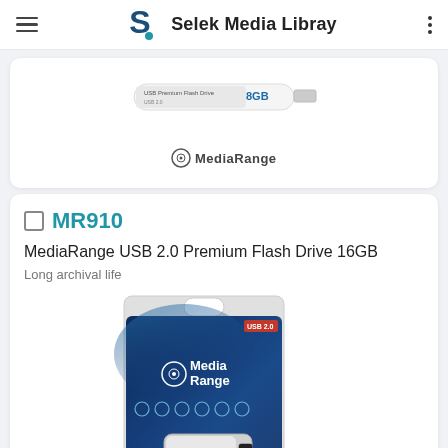Selek Media Libray
[Figure (photo): Partial view of a USB flash drive product card with MediaRange logo at bottom]
MR910
MediaRange USB 2.0 Premium Flash Drive 16GB
Long archival life
[Figure (photo): MediaRange USB 2.0 Premium Flash Drive 16GB product packaging image on dark blue background with MediaRange logo and USB drive visible]